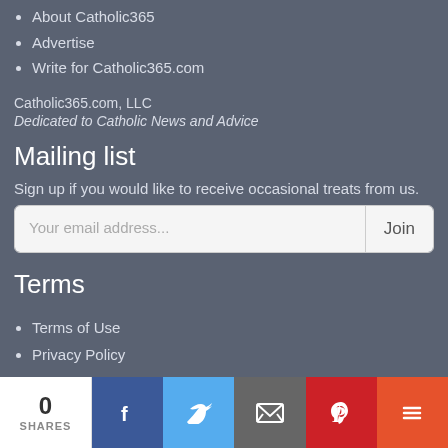About Catholic365
Advertise
Write for Catholic365.com
Catholic365.com, LLC
Dedicated to Catholic News and Advice
Mailing list
Sign up if you would like to receive occasional treats from us.
Terms
Terms of Use
Privacy Policy
Follow Us
[Figure (logo): Facebook and Twitter social media icon buttons]
0 SHARES | Facebook | Twitter | Email | Pinterest | More